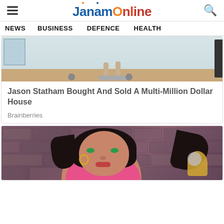JanamOnline
NEWS   BUSINESS   DEFENCE   HEALTH
[Figure (photo): Lower body of a person sitting on an office chair with wheels on a wooden floor, barefoot, in a light-colored room]
Jason Statham Bought And Sold A Multi-Million Dollar House
Brainberries
[Figure (illustration): Animated cartoon character — a dark-haired woman with green eyes, gold hoop earrings, and a pink outfit, against a stone wall background, holding a mirror]